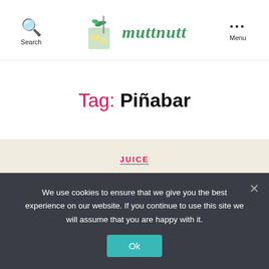Search | muttnutt | Menu
Tag: Piñabar
JUICE
Stores and Markets That
We use cookies to ensure that we give you the best experience on our website. If you continue to use this site we will assume that you are happy with it.